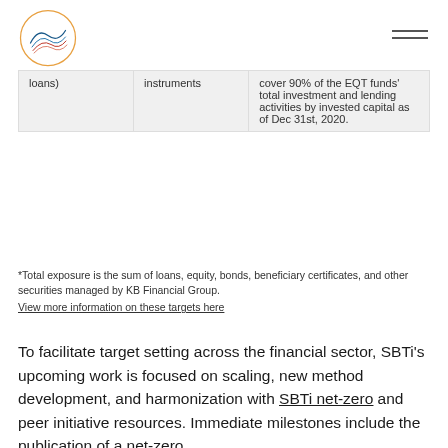[Figure (logo): Circular logo with wave lines in blue, teal, orange and red]
| loans) | instruments | cover 90% of the EQT funds' total investment and lending activities by invested capital as of Dec 31st, 2020. |
*Total exposure is the sum of loans, equity, bonds, beneficiary certificates, and other securities managed by KB Financial Group.
View more information on these targets here
To facilitate target setting across the financial sector, SBTi's upcoming work is focused on scaling, new method development, and harmonization with SBTi net-zero and peer initiative resources. Immediate milestones include the publication of a net-zero